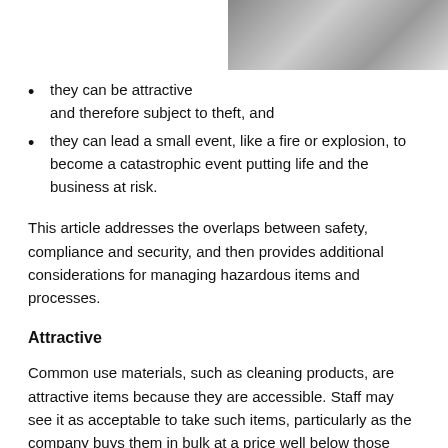[Figure (photo): Photo of a person holding something, partially visible in top right corner]
they can be attractive and therefore subject to theft, and
they can lead a small event, like a fire or explosion, to become a catastrophic event putting life and the business at risk.
This article addresses the overlaps between safety, compliance and security, and then provides additional considerations for managing hazardous items and processes.
Attractive
Common use materials, such as cleaning products, are attractive items because they are accessible. Staff may see it as acceptable to take such items, particularly as the company buys them in bulk at a price well below those available to the